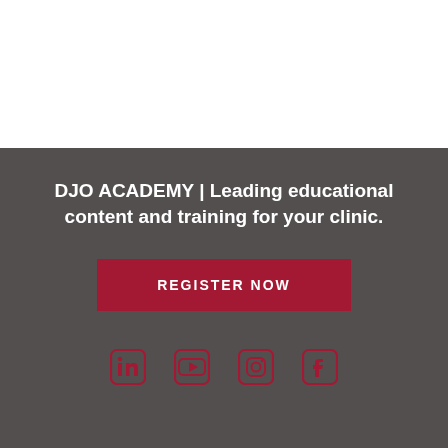DJO ACADEMY | Leading educational content and training for your clinic.
REGISTER NOW
[Figure (infographic): Social media icons: LinkedIn, YouTube, Instagram, Facebook displayed in dark red on dark grey background]